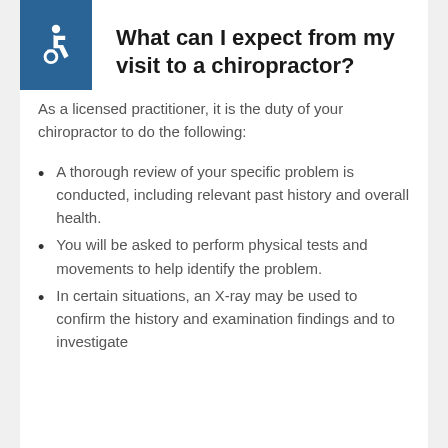What can I expect from my visit to a chiropractor?
As a licensed practitioner, it is the duty of your chiropractor to do the following:
A thorough review of your specific problem is conducted, including relevant past history and overall health.
You will be asked to perform physical tests and movements to help identify the problem.
In certain situations, an X-ray may be used to confirm the history and examination findings and to investigate